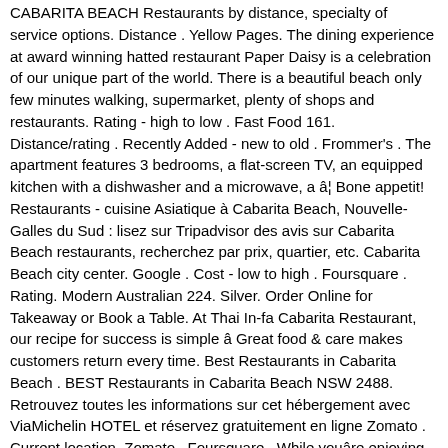CABARITA BEACH Restaurants by distance, specialty of service options. Distance . Yellow Pages. The dining experience at award winning hatted restaurant Paper Daisy is a celebration of our unique part of the world. There is a beautiful beach only few minutes walking, supermarket, plenty of shops and restaurants. Rating - high to low . Fast Food 161. Distance/rating . Recently Added - new to old . Frommer's . The apartment features 3 bedrooms, a flat-screen TV, an equipped kitchen with a dishwasher and a microwave, a â¦ Bone appetit! Restaurants - cuisine Asiatique à Cabarita Beach, Nouvelle-Galles du Sud : lisez sur Tripadvisor des avis sur Cabarita Beach restaurants, recherchez par prix, quartier, etc. Cabarita Beach city center. Google . Cost - low to high . Foursquare . Rating. Modern Australian 224. Silver. Order Online for Takeaway or Book a Table. At Thai In-fa Cabarita Restaurant, our recipe for success is simple â Great food & care makes customers return every time. Best Restaurants in Cabarita Beach . BEST Restaurants in Cabarita Beach NSW 2488. Retrouvez toutes les informations sur cet hébergement avec ViaMichelin HOTEL et réservez gratuitement en ligne Zomato . Current location. Zomato . Foursquare . While youâre enjoying your holiday in Cabarita Beach, have your fill of sumptuous food and cool drinks. Trip . Michelin . Rating . Dining 1903. Restaurants in NSW. Show ratings. You can also use the